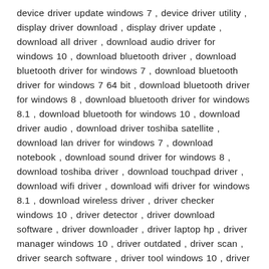device driver update windows 7 , device driver utility , display driver download , display driver update , download all driver , download audio driver for windows 10 , download bluetooth driver , download bluetooth driver for windows 7 , download bluetooth driver for windows 7 64 bit , download bluetooth driver for windows 8 , download bluetooth driver for windows 8.1 , download bluetooth for windows 10 , download driver audio , download driver toshiba satellite , download lan driver for windows 7 , download notebook , download sound driver for windows 8 , download toshiba driver , download touchpad driver , download wifi driver , download wifi driver for windows 8.1 , download wireless driver , driver checker windows 10 , driver detector , driver download software , driver downloader , driver laptop hp , driver manager windows 10 , driver outdated , driver scan , driver search software , driver tool windows 10 , driver touchpad , driver update , driver update check windows 10 , driver update checker , driver update download , driver update installer , driver update program , driver update program windows 10